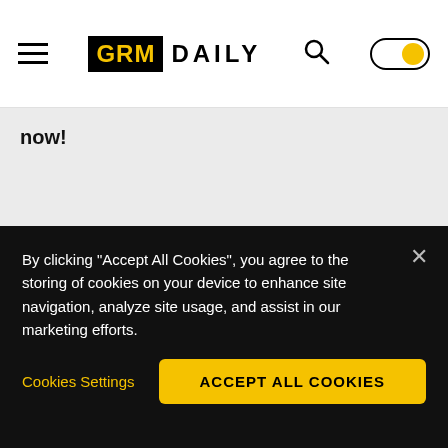[Figure (logo): GRM Daily website header with hamburger menu, GRM Daily logo (GRM in yellow on black background, DAILY in black), search icon, and a toggle switch with yellow knob]
now!
By clicking "Accept All Cookies", you agree to the storing of cookies on your device to enhance site navigation, analyze site usage, and assist in our marketing efforts.
Cookies Settings
ACCEPT ALL COOKIES